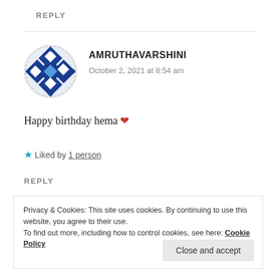REPLY
[Figure (illustration): Blue and white geometric snowflake-pattern avatar for user Amruthavarshini]
AMRUTHAVARSHINI
October 2, 2021 at 8:54 am
Happy birthday hema ❤️
★ Liked by 1 person
REPLY
Privacy & Cookies: This site uses cookies. By continuing to use this website, you agree to their use.
To find out more, including how to control cookies, see here: Cookie Policy
Close and accept